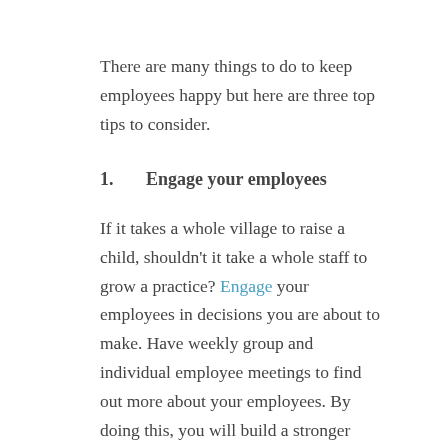There are many things to do to keep employees happy but here are three top tips to consider.
1.    Engage your employees
If it takes a whole village to raise a child, shouldn't it take a whole staff to grow a practice? Engage your employees in decisions you are about to make. Have weekly group and individual employee meetings to find out more about your employees. By doing this, you will build a stronger relationships with your employees who can give valuable tips for